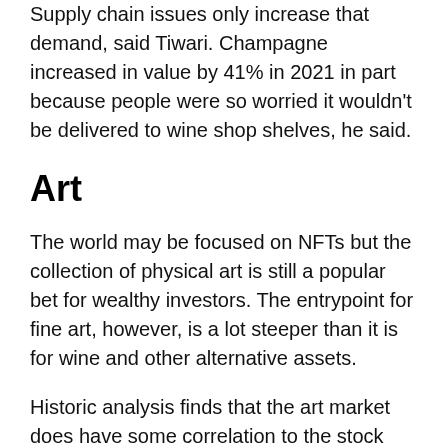Supply chain issues only increase that demand, said Tiwari. Champagne increased in value by 41% in 2021 in part because people were so worried it wouldn't be delivered to wine shop shelves, he said.
Art
The world may be focused on NFTs but the collection of physical art is still a popular bet for wealthy investors. The entrypoint for fine art, however, is a lot steeper than it is for wine and other alternative assets.
Historic analysis finds that the art market does have some correlation to the stock market, but there tends to be a six to 18 month lag. For example, the 2007-2008 recession didn't begin